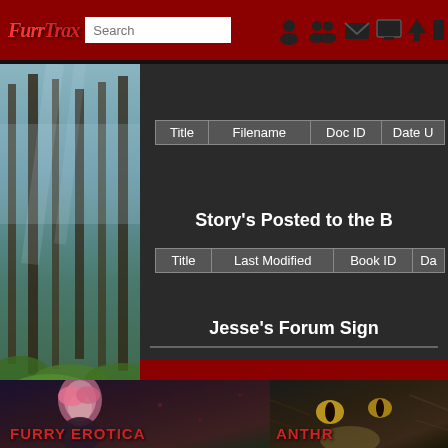FurrTrax — Search bar and navigation icons
[Figure (screenshot): FurrTrax website screenshot showing navigation bar with logo, search bar, and icons on dark red background; forest scene on left; dark content panel with document table headers (Title, Filename, Doc ID, Date U), Story's Posted to the B section header, book table headers (Title, Last Modified, Book ID, Da), Jesse's Forum Sign section, red band, and bottom banner with FURRY EROTICA and ANTHR labels]
| Title | Filename | Doc ID | Date U |
| --- | --- | --- | --- |
Story's Posted to the B
| Title | Last Modified | Book ID | Da |
| --- | --- | --- | --- |
Jesse's Forum Sign
FURRY EROTICA
ANTHR